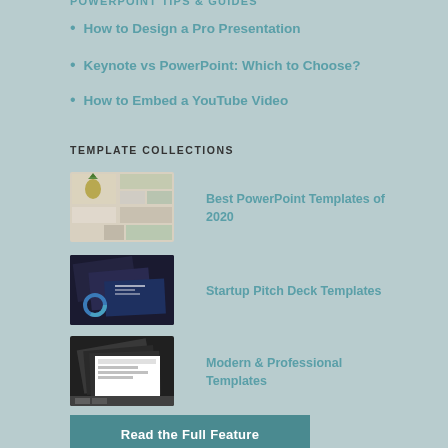POWERPOINT TIPS & GUIDES
How to Design a Pro Presentation
Keynote vs PowerPoint: Which to Choose?
How to Embed a YouTube Video
TEMPLATE COLLECTIONS
[Figure (screenshot): Thumbnail image of PowerPoint templates collage with pineapple and design elements]
Best PowerPoint Templates of 2020
[Figure (screenshot): Thumbnail image of dark-themed startup pitch deck templates]
Startup Pitch Deck Templates
[Figure (screenshot): Thumbnail image of modern professional dark presentation templates]
Modern & Professional Templates
Read the Full Feature